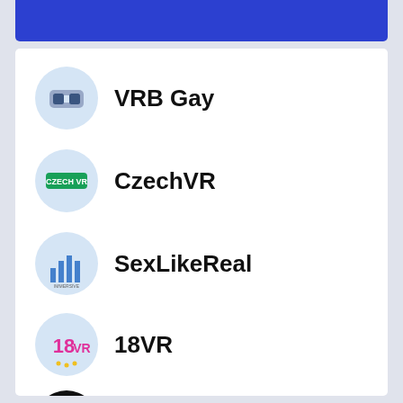VRB Gay
CzechVR
SexLikeReal
18VR
PornHubVR
VRCosplayX